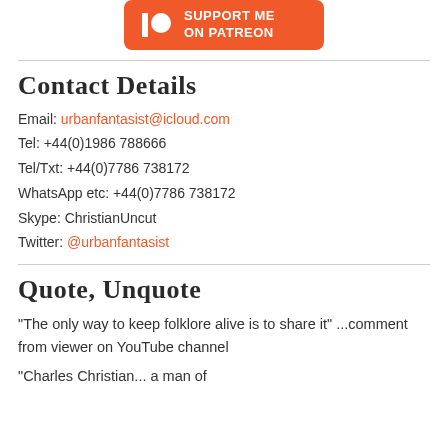[Figure (logo): Orange Patreon support button with Patreon logo and text 'SUPPORT ME ON PATREON']
Contact Details
Email: urbanfantasist@icloud.com
Tel: +44(0)1986 788666
Tel/Txt: +44(0)7786 738172
WhatsApp etc: +44(0)7786 738172
Skype: ChristianUncut
Twitter: @urbanfantasist
Quote, Unquote
"The only way to keep folklore alive is to share it" ...comment from viewer on YouTube channel
"Charles Christian... a man of